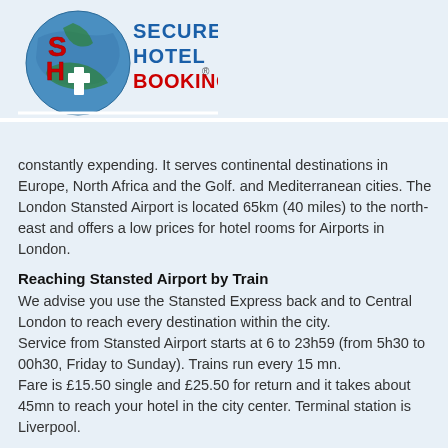[Figure (logo): Secure Hotel Booking logo with globe and SHB letters in red and blue]
constantly expending. It serves continental destinations in Europe, North Africa and the Golf. and Mediterranean cities. The London Stansted Airport is located 65km (40 miles) to the north-east and offers a low prices for hotel rooms for Airports in London.
Reaching Stansted Airport by Train
We advise you use the Stansted Express back and to Central London to reach every destination within the city.
Service from Stansted Airport starts at 6 to 23h59 (from 5h30 to 00h30, Friday to Sunday). Trains run every 15 mn.
Fare is £15.50 single and £25.50 for return and it takes about 45mn to reach your hotel in the city center. Terminal station is Liverpool.
Reaching Stansted Airport by Bus